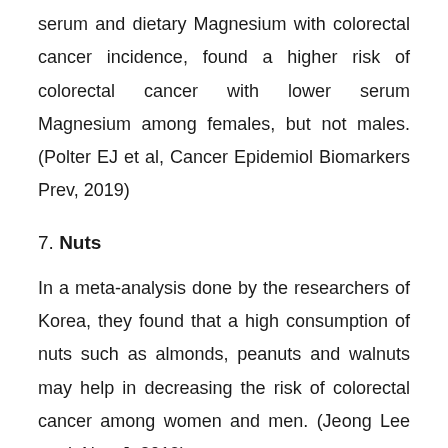serum and dietary Magnesium with colorectal cancer incidence, found a higher risk of colorectal cancer with lower serum Magnesium among females, but not males. (Polter EJ et al, Cancer Epidemiol Biomarkers Prev, 2019)
7. Nuts
In a meta-analysis done by the researchers of Korea, they found that a high consumption of nuts such as almonds, peanuts and walnuts may help in decreasing the risk of colorectal cancer among women and men. (Jeong Lee et al, Nutr J, 2019)